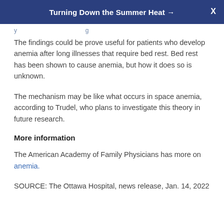Turning Down the Summer Heat →  X
The findings could be prove useful for patients who develop anemia after long illnesses that require bed rest. Bed rest has been shown to cause anemia, but how it does so is unknown.
The mechanism may be like what occurs in space anemia, according to Trudel, who plans to investigate this theory in future research.
More information
The American Academy of Family Physicians has more on anemia.
SOURCE: The Ottawa Hospital, news release, Jan. 14, 2022